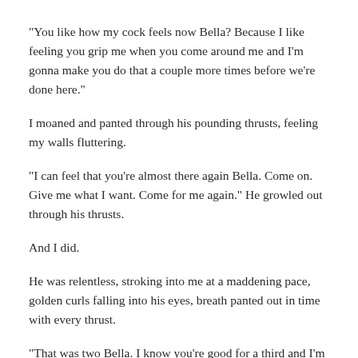"You like how my cock feels now Bella? Because I like feeling you grip me when you come around me and I'm gonna make you do that a couple more times before we're done here."
I moaned and panted through his pounding thrusts, feeling my walls fluttering.
"I can feel that you're almost there again Bella. Come on. Give me what I want. Come for me again." He growled out through his thrusts.
And I did.
He was relentless, stroking into me at a maddening pace, golden curls falling into his eyes, breath panted out in time with every thrust.
"That was two Bella. I know you're good for a third and I'm about to fill you. Don't disappoint me Bella. Come...